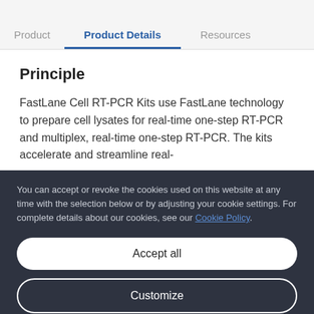Product    Product Details    Resources
Principle
FastLane Cell RT-PCR Kits use FastLane technology to prepare cell lysates for real-time one-step RT-PCR and multiplex, real-time one-step RT-PCR. The kits accelerate and streamline real-
You can accept or revoke the cookies used on this website at any time with the selection below or by adjusting your cookie settings. For complete details about our cookies, see our Cookie Policy.
Accept all
Customize
Only necessary